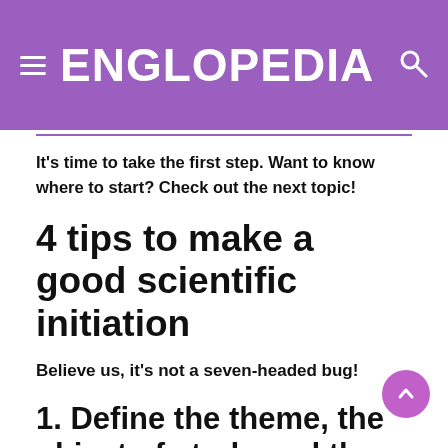ENGLOPEDIA
It's time to take the first step. Want to know where to start? Check out the next topic!
4 tips to make a good scientific initiation
Believe us, it's not a seven-headed bug!
1. Define the theme, the object of study and the problem
Shall we start with the basics? Choose the topic, the object of study and the research problem.